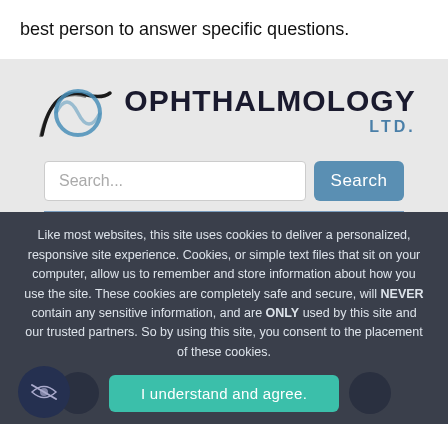best person to answer specific questions.
[Figure (logo): Ophthalmology Ltd. logo with eye/circle graphic and text]
Like most websites, this site uses cookies to deliver a personalized, responsive site experience. Cookies, or simple text files that sit on your computer, allow us to remember and store information about how you use the site. These cookies are completely safe and secure, will NEVER contain any sensitive information, and are ONLY used by this site and our trusted partners. So by using this site, you consent to the placement of these cookies.
I understand and agree.